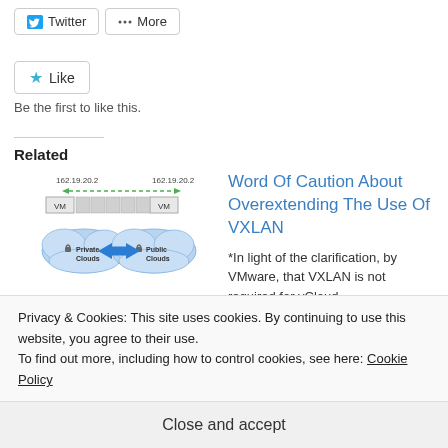Twitter | More
Like
Be the first to like this.
Related
[Figure (network-graph): Datacenter extension network diagram showing VM instances at 162.19.20.2 connected via Private Clouds and Public Clouds with bidirectional arrows]
Datacenter Extension With
Word Of Caution About Overextending The Use Of VXLAN
*In light of the clarification, by VMware, that VXLAN is not required for vCloud
Privacy & Cookies: This site uses cookies. By continuing to use this website, you agree to their use.
To find out more, including how to control cookies, see here: Cookie Policy
Close and accept